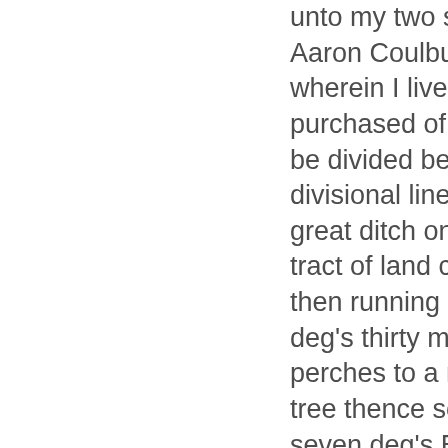unto my two sons John Pusey and Aaron Coulburn, the plantation wherein I live including the place purchased of Samuel Trehearn, to be divided between them by a divisional line at the corner of a great ditch on the ninth line of a tract of land called Second Choice, then running North eighty four deg's thirty minutes East, fifty two perches to a marked possession tree thence south south forty seven deg's East, eight perches to a Spanish Oak, thence with a line drawn South seventy nine deg's East to the extent of my land, the